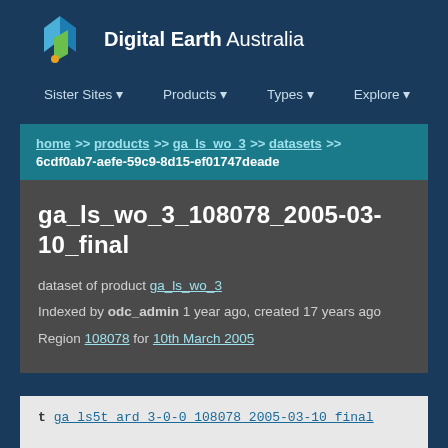[Figure (logo): Digital Earth Australia logo with diamond shapes in blue, green, and orange/yellow]
Digital Earth Australia — navigation: Sister Sites, Products, Types, Explore
home >> products >> ga_ls_wo_3 >> datasets >> 6cdf0ab7-aefe-59c9-8d15-ef01747deade
ga_ls_wo_3_108078_2005-03-10_final
dataset of product ga_ls_wo_3
Indexed by odc_admin 1 year ago, created 17 years ago
Region 108078 for 10th March 2005
t ga_ls5t_ard_3-0-0_108078_2005-03-10_final